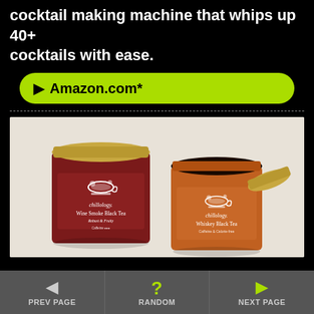cocktail making machine that whips up 40+ cocktails with ease.
► Amazon.com*
[Figure (photo): Two Chillology tea tins on a light background. Left tin is dark red/maroon labeled 'Wine Smoke Black Tea - Robust & Fruity' with gold lid. Right tin is open, orange/brown labeled 'Whiskey Black Tea' with loose black tea leaves visible and gold lid leaning against it.]
◄ PREV PAGE   ? RANDOM   ► NEXT PAGE